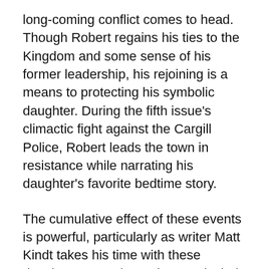long-coming conflict comes to head. Though Robert regains his ties to the Kingdom and some sense of his former leadership, his rejoining is a means to protecting his symbolic daughter. During the fifth issue's climactic fight against the Cargill Police, Robert leads the town in resistance while narrating his daughter's favorite bedtime story.
The cumulative effect of these events is powerful, particularly as writer Matt Kindt takes his time with these developments. The series, particularly at its start, moves at a slow and unusually winding pace. This is so much the case that we felt it imprudent to review the series prior to the first arc's completion. For some readers, this pacing